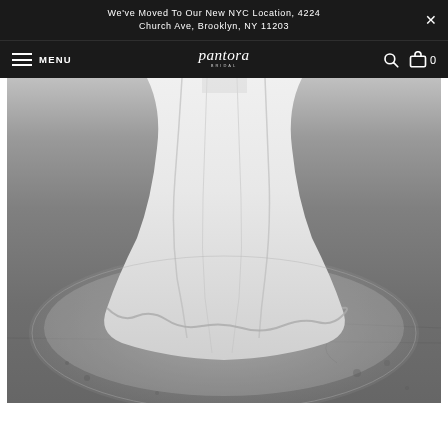We've Moved To Our New NYC Location, 4224 Church Ave, Brooklyn, NY 11203
[Figure (screenshot): Website navigation bar with hamburger menu, MENU text, Pantora Bridal script logo, search icon, and cart icon with 0 count, on dark background]
[Figure (photo): Black and white close-up photograph of the bottom of a white wedding dress with a sheer veil spread out on a concrete floor]